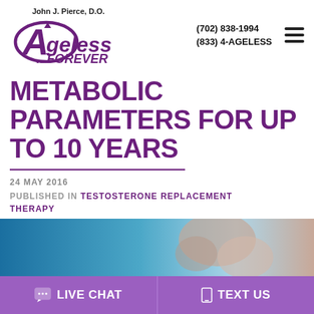[Figure (logo): Ageless Forever logo with John J. Pierce D.O. — purple stylized A with swoosh and text 'Ageless ...FOREVER']
(702) 838-1994
(833) 4-AGELESS
METABOLIC PARAMETERS FOR UP TO 10 YEARS
24 MAY 2016
PUBLISHED IN TESTOSTERONE REPLACEMENT THERAPY
[Figure (photo): Partial photo of a muscular person against a blue background]
💬 LIVE CHAT
📱 TEXT US